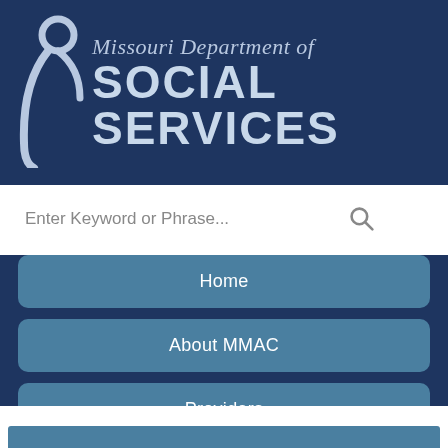[Figure (logo): Missouri Department of Social Services logo with stylized figure icon]
Enter Keyword or Phrase...
Home
About MMAC
Providers
Participants
Fraud, Waste & Abuse
Contact Us